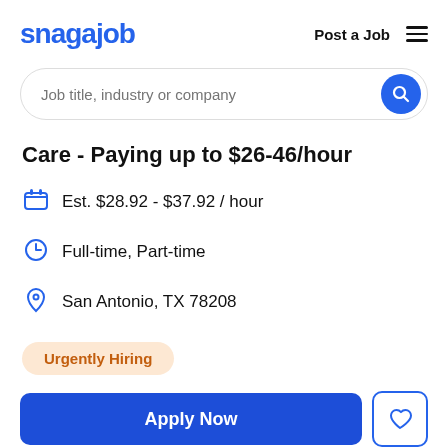snagajob | Post a Job
Job title, industry or company
Care - Paying up to $26-46/hour
Est. $28.92 - $37.92 / hour
Full-time, Part-time
San Antonio, TX 78208
Urgently Hiring
Apply Now